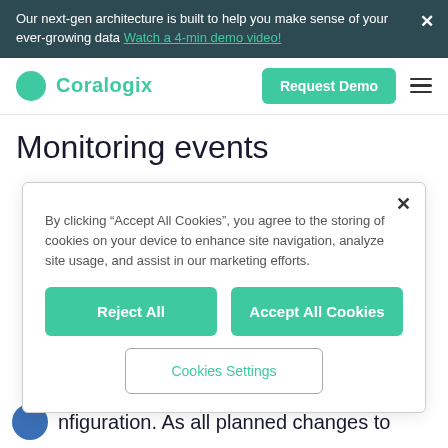Our next-gen architecture is built to help you make sense of your ever-growing data Watch a 4-min demo video!
[Figure (logo): Coralogix logo with green circle and teal text]
Monitoring events
By clicking “Accept All Cookies”, you agree to the storing of cookies on your device to enhance site navigation, analyze site usage, and assist in our marketing efforts.
Reject All
Accept All Cookies
Cookies Settings
nfiguration. As all planned changes to